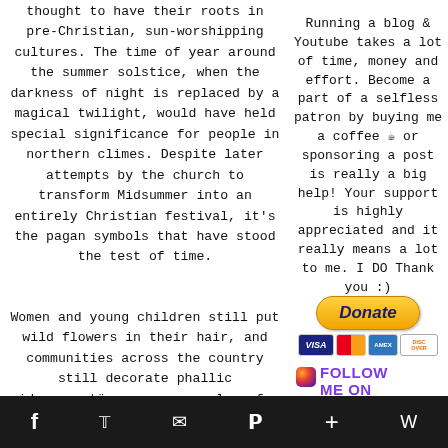thought to have their roots in pre-Christian, sun-worshipping cultures. The time of year around the summer solstice, when the darkness of night is replaced by a magical twilight, would have held special significance for people in northern climes. Despite later attempts by the church to transform Midsummer into an entirely Christian festival, it's the pagan symbols that have stood the test of time.
Running a blog & Youtube takes a lot of time, money and effort. Become a part of a selfless patron by buying me a coffee ☕ or sponsoring a post is really a big help! Your support is highly appreciated and it really means a lot to me. I DO Thank you :)
[Figure (other): PayPal Donate button (yellow rounded rectangle with 'Donate' in bold italic blue text) and credit card logos (Visa, Mastercard, Amex, Discover)]
Women and young children still put wild flowers in their hair, and communities across the country still decorate phallic midsommarstänger, or maypoles, for people to sing and dance around.
[Figure (other): Instagram follow badge with orange circle icon and purple bold text: FOLLOW ME ON INSTAGRAM]
f  twitter  email  pinterest  +  wordpress (social share icons on dark bar)